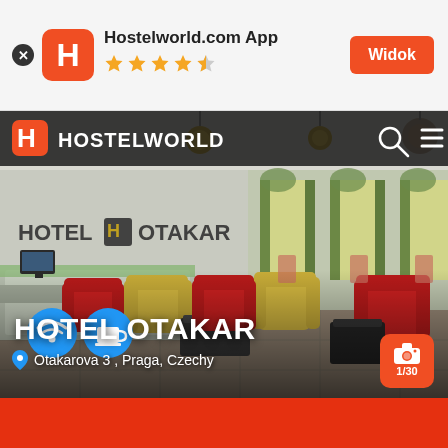[Figure (screenshot): Top app banner with Hostelworld logo, 4.5 star rating, and Widok button]
Hostelworld.com App
[Figure (photo): Hotel Otakar lobby photo with red and yellow armchairs, reception desk, green curtained windows, and Hostelworld navigation overlay]
HOTEL OTAKAR
Otakarova 3 , Praga, Czechy